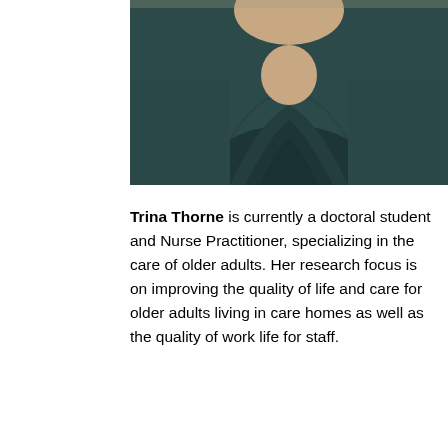[Figure (photo): Portrait photo of Trina Thorne wearing a dark teal turtleneck sweater, cropped at the shoulders/neck area, photographed against a light background.]
Trina Thorne is currently a doctoral student and Nurse Practitioner, specializing in the care of older adults. Her research focus is on improving the quality of life and care for older adults living in care homes as well as the quality of work life for staff.